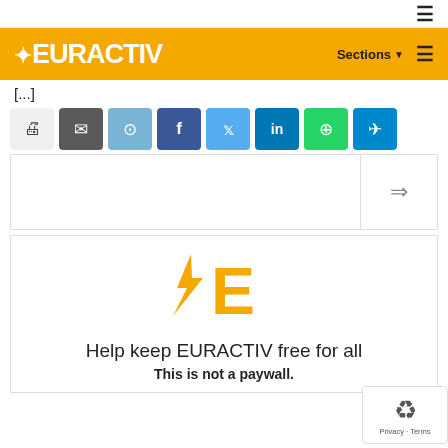☰
[Figure (logo): EURACTIV yellow header logo with star/lightning bolt icon and white text. Sections dropdown and hamburger menu on right.]
[partial article title text]
[Figure (infographic): Social share buttons row: print, email, reddit, facebook, twitter, linkedin, whatsapp, telegram]
[Figure (other): Advertisement/content box with arrow icon on right side]
[Figure (logo): EURACTIV logo icon (star+E in gold/yellow) centered in paywall box]
Help keep EURACTIV free for all
This is not a paywall.